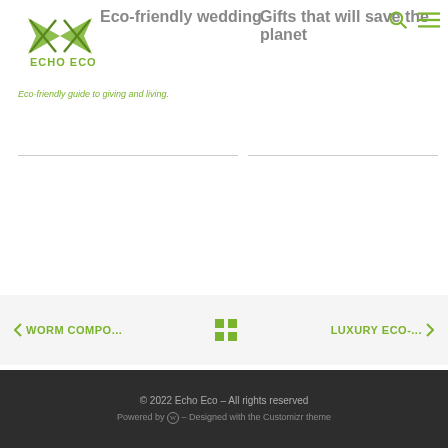[Figure (logo): Echo Eco logo with bowtie/butterfly graphic in green]
Eco-friendly guide to giving and living.
Eco-friendly wedding
Gifts that will save the planet
< WORM COMPO...    [grid icon]    LUXURY ECO-... >
© 2022 Echo Eco – All rights reserved
Powered by [WP] – Designed with the Customizr theme